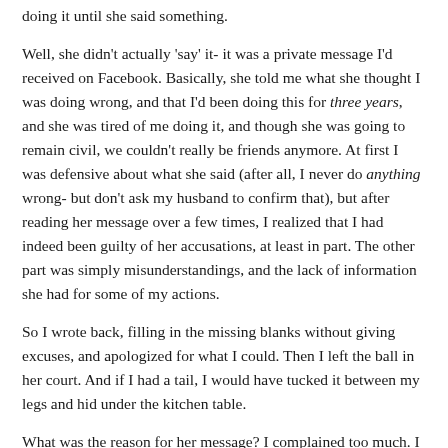doing it until she said something.
Well, she didn't actually 'say' it- it was a private message I'd received on Facebook. Basically, she told me what she thought I was doing wrong, and that I'd been doing this for three years, and she was tired of me doing it, and though she was going to remain civil, we couldn't really be friends anymore. At first I was defensive about what she said (after all, I never do anything wrong- but don't ask my husband to confirm that), but after reading her message over a few times, I realized that I had indeed been guilty of her accusations, at least in part. The other part was simply misunderstandings, and the lack of information she had for some of my actions.
So I wrote back, filling in the missing blanks without giving excuses, and apologized for what I could. Then I left the ball in her court. And if I had a tail, I would have tucked it between my legs and hid under the kitchen table.
What was the reason for her message? I complained too much. I know it sounds small, but after three years of hearing me go on about the same subject, I just plain got on her nerves, it's as simple